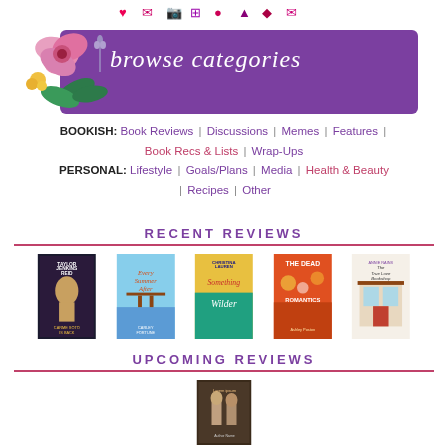[Figure (illustration): Social media icons row at top of page]
[Figure (illustration): Purple banner with floral decoration and cursive text 'browse categories']
BOOKISH: Book Reviews | Discussions | Memes | Features | Book Recs & Lists | Wrap-Ups
PERSONAL: Lifestyle | Goals/Plans | Media | Health & Beauty | Recipes | Other
RECENT REVIEWS
[Figure (illustration): Row of 5 book covers: Carme Soto Is Back by Taylor Jenkins Reid, Every Summer After by Carley Fortune, Something Wilder by Christina Lauren, The Dead Romantics by Ashley Poston, The True Love Bookshop]
UPCOMING REVIEWS
[Figure (illustration): One upcoming book cover partially visible at bottom]